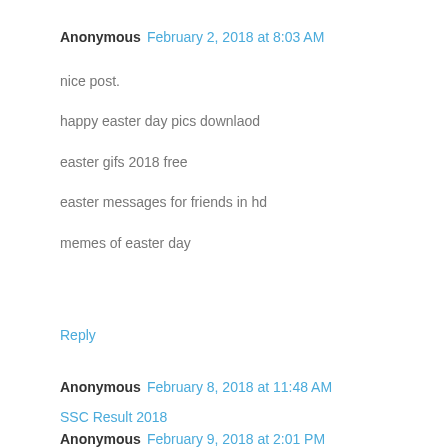Anonymous  February 2, 2018 at 8:03 AM
nice post.

happy easter day pics downlaod

easter gifs 2018 free

easter messages for friends in hd

memes of easter day
Reply
Anonymous  February 8, 2018 at 11:48 AM
SSC Result 2018
Reply
Anonymous  February 9, 2018 at 2:01 PM